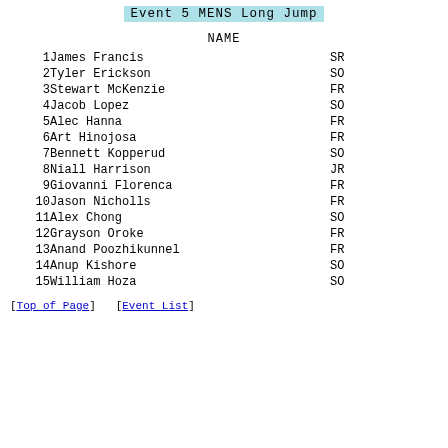Event 5 MENS Long Jump
NAME
| # | NAME | YR |
| --- | --- | --- |
| 1 | James Francis | SR |
| 2 | Tyler Erickson | SO |
| 3 | Stewart McKenzie | FR |
| 4 | Jacob Lopez | SO |
| 5 | Alec Hanna | FR |
| 6 | Art Hinojosa | FR |
| 7 | Bennett Kopperud | SO |
| 8 | Niall Harrison | JR |
| 9 | Giovanni Florenca | FR |
| 10 | Jason Nicholls | FR |
| 11 | Alex Chong | SO |
| 12 | Grayson Oroke | FR |
| 13 | Anand Poozhikunnel | FR |
| 14 | Anup Kishore | SO |
| 15 | William Hoza | SO |
[Top of Page]   [Event List]